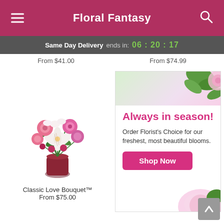Floral Fantasy
Same Day Delivery ends in: 06 : 20 : 17
From $41.00
From $74.99
[Figure (photo): Classic Love Bouquet with pink roses, white lilies, alstroemeria in a dark red vase]
Classic Love Bouquet™
From $75.00
[Figure (infographic): Advertisement banner: Always in season! Order Florist's Choice for our freshest, most beautiful blooms. Shop Now button with floral imagery.]